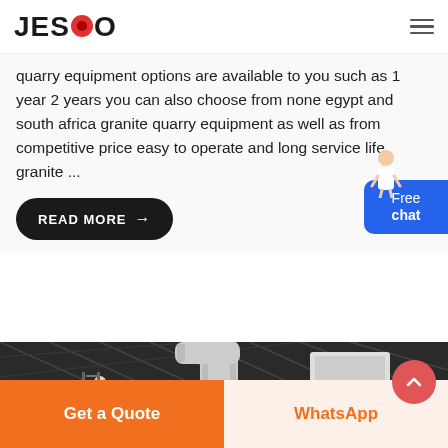JESCO
quarry equipment options are available to you such as 1 year 2 years you can also choose from none egypt and south africa granite quarry equipment as well as from competitive price easy to operate and long service life granite ...
READ MORE →
[Figure (photo): Industrial machinery photo showing large pipes and structures inside a warehouse/factory with dark roof structure]
Get a Quote
WhatsApp